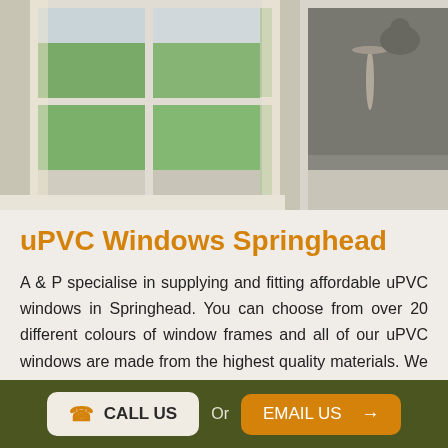[Figure (photo): Photo of uPVC windows, showing white-framed windows with garden view and a kitchen window area on the right]
uPVC Windows Springhead
A & P specialise in supplying and fitting affordable uPVC windows in Springhead. You can choose from over 20 different colours of window frames and all of our uPVC windows are made from the highest quality materials. We even guarantee all of our windows for 10 years.
A key benefit of uPVC windows is that they are resistant to corrosion and they do not rot, this makes uPVC windows extremely long-lasting.
Thanks to our great uPVC materials, you'll be able to
CALL US   Or   EMAIL US →